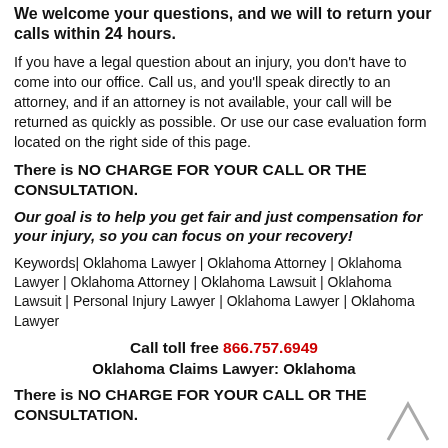We welcome your questions, and we will to return your calls within 24 hours.
If you have a legal question about an injury, you don't have to come into our office. Call us, and you'll speak directly to an attorney, and if an attorney is not available, your call will be returned as quickly as possible. Or use our case evaluation form located on the right side of this page.
There is NO CHARGE FOR YOUR CALL OR THE CONSULTATION.
Our goal is to help you get fair and just compensation for your injury, so you can focus on your recovery!
Keywords| Oklahoma Lawyer | Oklahoma Attorney | Oklahoma Lawyer | Oklahoma Attorney | Oklahoma Lawsuit | Oklahoma Lawsuit | Personal Injury Lawyer | Oklahoma Lawyer | Oklahoma Lawyer
Call toll free 866.757.6949
Oklahoma Claims Lawyer: Oklahoma
There is NO CHARGE FOR YOUR CALL OR THE CONSULTATION.